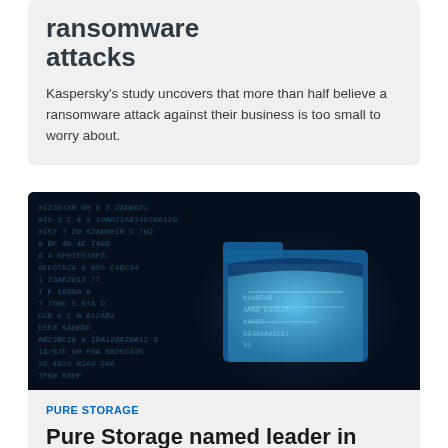ransomware attacks
Kaspersky's study uncovers that more than half believe a ransomware attack against their business is too small to worry about.
[Figure (photo): Dark blue digital matrix background with hexadecimal/binary code and a glowing blue folder icon in the center, representing cybersecurity or ransomware concept.]
PURE STORAGE
Pure Storage named leader in GigaOm report for